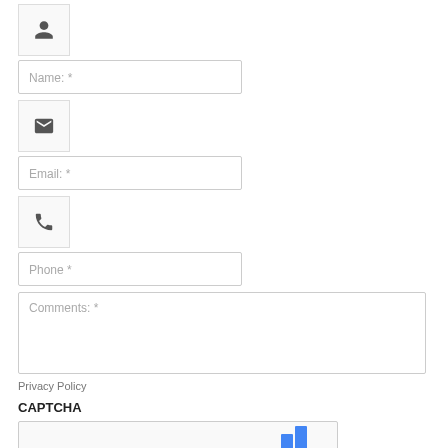[Figure (illustration): Person/user icon in a small bordered box]
Name: *
[Figure (illustration): Envelope/email icon in a small bordered box]
Email: *
[Figure (illustration): Phone/telephone icon in a small bordered box]
Phone *
Comments: *
Privacy Policy
CAPTCHA
[Figure (screenshot): CAPTCHA widget box with partial reCAPTCHA logo visible]